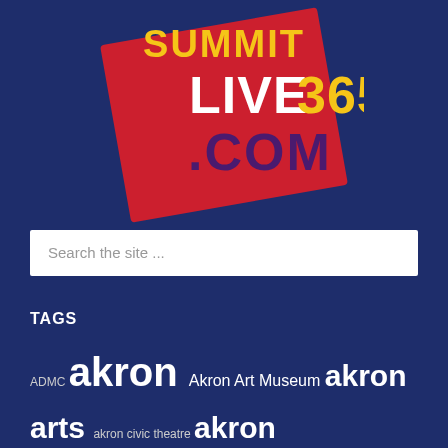[Figure (logo): SummitLive365.com logo — red tilted rectangle with LIVE365.COM text in yellow, white, and purple on dark blue background]
Search the site ...
TAGS
ADMC akron Akron Art Museum akron arts akron civic theatre akron community foundation Akron Digital Media Center akronist akron neighborhoods akron news akron